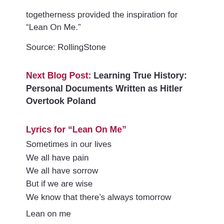togetherness provided the inspiration for “Lean On Me.”
Source: RollingStone
Next Blog Post: Learning True History: Personal Documents Written as Hitler Overtook Poland
Lyrics for “Lean On Me”
Sometimes in our lives
We all have pain
We all have sorrow
But if we are wise
We know that there’s always tomorrow
Lean on me